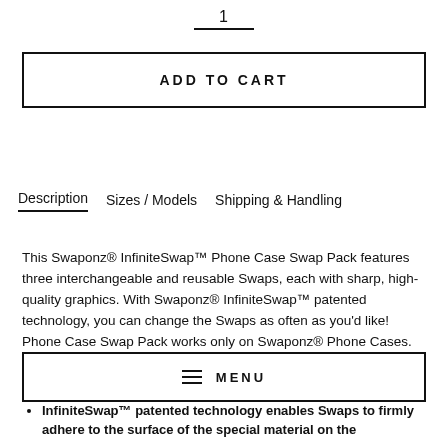1
ADD TO CART
Description   Sizes / Models   Shipping & Handling
This Swaponz® InfiniteSwap™ Phone Case Swap Pack features three interchangeable and reusable Swaps, each with sharp, high-quality graphics. With Swaponz® InfiniteSwap™ patented technology, you can change the Swaps as often as you'd like! Phone Case Swap Pack works only on Swaponz® Phone Cases.
≡  MENU
InfiniteSwap™ patented technology enables Swaps to firmly adhere to the surface of the special material on the